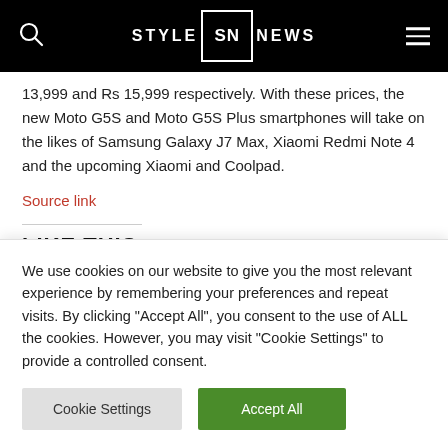STYLE SN NEWS
13,999 and Rs 15,999 respectively. With these prices, the new Moto G5S and Moto G5S Plus smartphones will take on the likes of Samsung Galaxy J7 Max, Xiaomi Redmi Note 4 and the upcoming Xiaomi and Coolpad.
Source link
LIKE THIS:
We use cookies on our website to give you the most relevant experience by remembering your preferences and repeat visits. By clicking "Accept All", you consent to the use of ALL the cookies. However, you may visit "Cookie Settings" to provide a controlled consent.